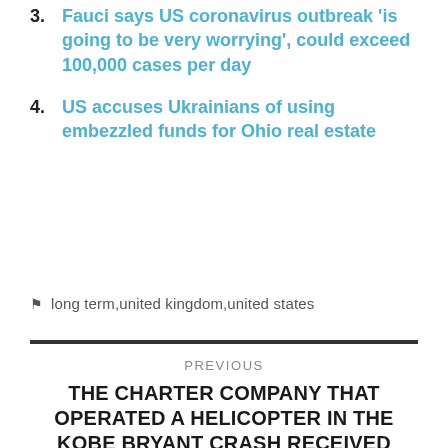2. US just reported deadliest day for coronavirus
3. Fauci says US coronavirus outbreak 'is going to be very worrying', could exceed 100,000 cases per day
4. US accuses Ukrainians of using embezzled funds for Ohio real estate
🏷 long term,united kingdom,united states
PREVIOUS
THE CHARTER COMPANY THAT OPERATED A HELICOPTER IN THE KOBE BRYANT CRASH RECEIVED FEDERAL FUNDS FOR THE